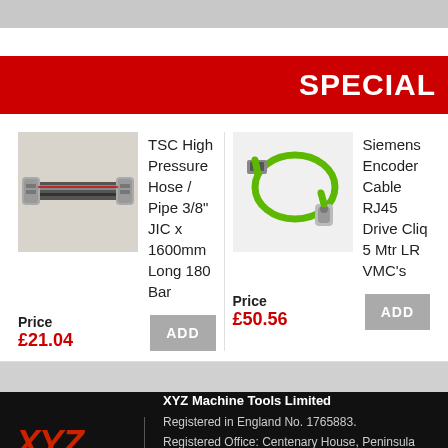SPECIAL
[Figure (photo): TSC High Pressure Hose/Pipe, metallic fittings on each end, dark background]
TSC High Pressure Hose / Pipe 3/8" JIC x 1600mm Long 180 Bar
Price
£21.04
[Figure (photo): Siemens Encoder Cable RJ45 Drive Cliq, green coiled cable with metallic connector]
Siemens Encoder Cable RJ45 Drive Cliq 5 Mtr LR VMC's
Price
£50.56
XYZ Machine Tools Limited
Registered in England No. 1765883.
Registered Office: Centenary House, Peninsula Park, Rydon Lane, Exeter. EX2 7XE. VAT No. GB 741 5449 33